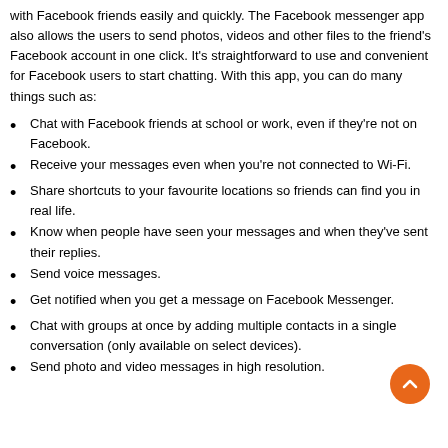with Facebook friends easily and quickly. The Facebook messenger app also allows the users to send photos, videos and other files to the friend's Facebook account in one click. It's straightforward to use and convenient for Facebook users to start chatting. With this app, you can do many things such as:
Chat with Facebook friends at school or work, even if they're not on Facebook.
Receive your messages even when you're not connected to Wi-Fi.
Share shortcuts to your favourite locations so friends can find you in real life.
Know when people have seen your messages and when they've sent their replies.
Send voice messages.
Get notified when you get a message on Facebook Messenger.
Chat with groups at once by adding multiple contacts in a single conversation (only available on select devices).
Send photo and video messages in high resolution.